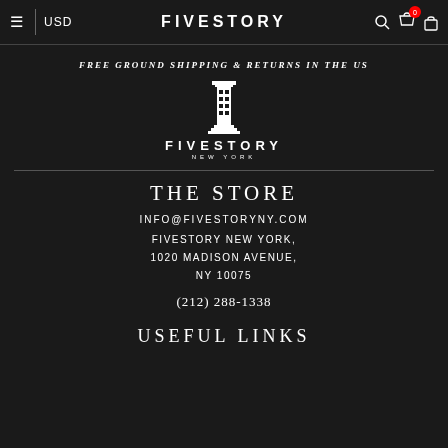≡  USD  |  FIVESTORY  🔍  🛒0  🔒
FREE GROUND SHIPPING & RETURNS IN THE US
[Figure (logo): Fivestory New York logo with column/building icon above bold text FIVESTORY and subtitle NEW YORK]
THE STORE
INFO@FIVESTORYNY.COM
FIVESTORY NEW YORK, 1020 MADISON AVENUE, NY 10075
(212) 288-1338
USEFUL LINKS